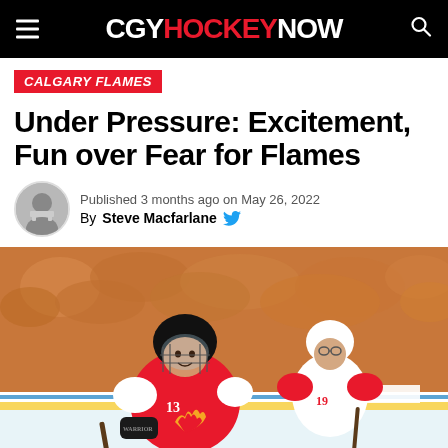CGY HOCKEY NOW
CALGARY FLAMES
Under Pressure: Excitement, Fun over Fear for Flames
Published 3 months ago on May 26, 2022
By Steve Macfarlane
[Figure (photo): Calgary Flames player #13 skating on ice with player #19 in background during a game, crowd visible in background]